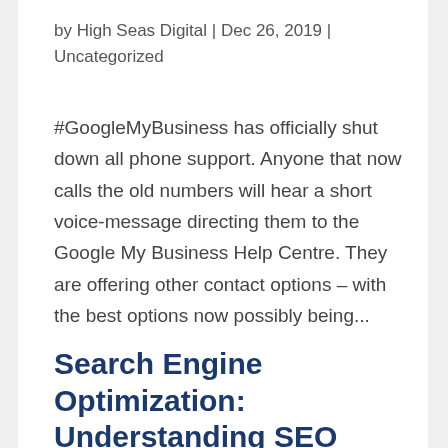by High Seas Digital | Dec 26, 2019 | Uncategorized
#GoogleMyBusiness has officially shut down all phone support. Anyone that now calls the old numbers will hear a short voice-message directing them to the Google My Business Help Centre. They are offering other contact options – with the best options now possibly being...
Search Engine Optimization: Understanding SEO